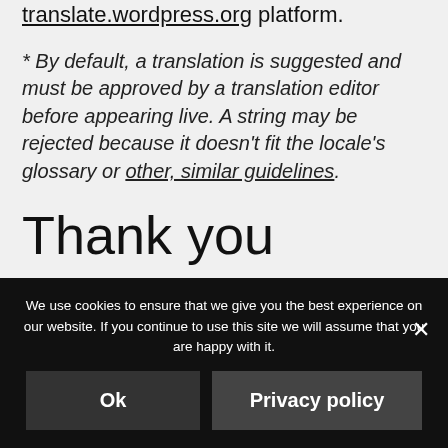translate.wordpress.org platform.
* By default, a translation is suggested and must be approved by a translation editor before appearing live. A string may be rejected because it doesn't fit the locale's glossary or other, similar guidelines.
Thank you
We use cookies to ensure that we give you the best experience on our website. If you continue to use this site we will assume that you are happy with it.
Ok   Privacy policy